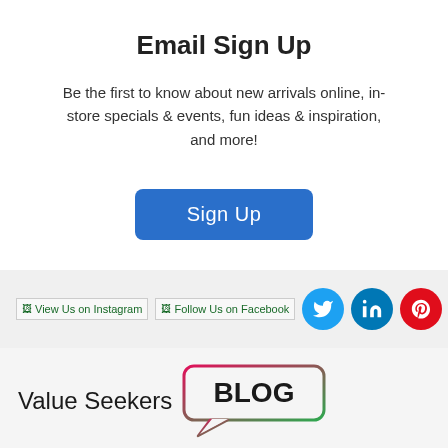Email Sign Up
Be the first to know about new arrivals online, in-store specials & events, fun ideas & inspiration, and more!
Sign Up
[Figure (infographic): Social media icons row: View Us on Instagram (broken image), Follow Us on Facebook (broken image), Twitter circle icon (blue), LinkedIn circle icon (blue), Pinterest circle icon (red)]
[Figure (logo): Value Seekers BLOG logo — text 'Value Seekers' with a chat-bubble shaped border containing the word BLOG in bold]
Dollar Tree Videos